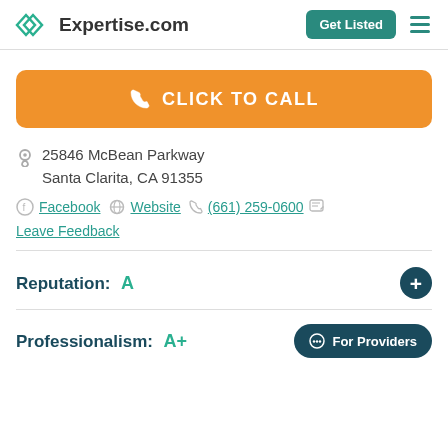Expertise.com | Get Listed
CLICK TO CALL
25846 McBean Parkway
Santa Clarita, CA 91355
Facebook  Website  (661) 259-0600  Leave Feedback
Reputation: A
Professionalism: A+